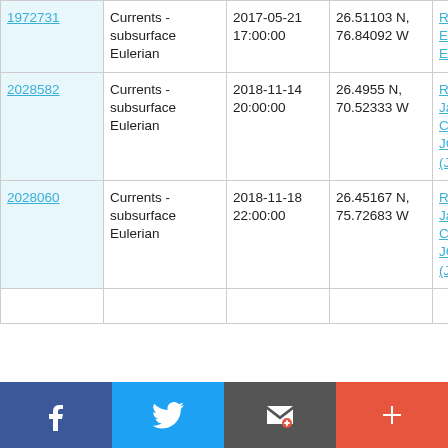| 1972731 | Currents - subsurface Eulerian | 2017-05-21 17:00:00 | 26.51103 N, 76.84092 W | RV Endeavor EN598 |
| 2028582 | Currents - subsurface Eulerian | 2018-11-14 20:00:00 | 26.4955 N, 70.52333 W | RRS James Cook JC174 (JC175) |
| 2028060 | Currents - subsurface Eulerian | 2018-11-18 22:00:00 | 26.45167 N, 75.72683 W | RRS James Cook JC174 (JC175) |
[Figure (other): Social media share bar with Facebook, Twitter, email, and add buttons]